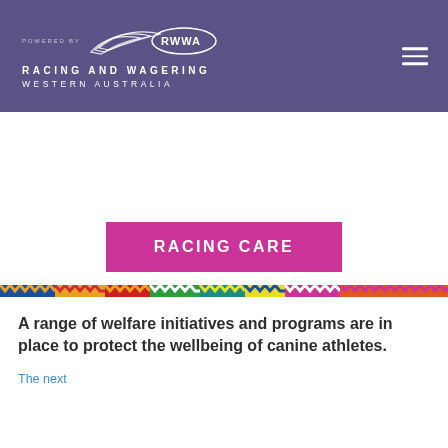[Figure (logo): Racing and Wagering Western Australia (RWWA) logo in white on purple background, with 'POWERED BY' text and speed-lines motif]
RACING CARE
[Figure (infographic): Colorful horizontal stripe band with repeating multicolored chevron/zigzag pattern sections in blue, orange, red, green, teal, yellow, pink, and other colors]
A range of welfare initiatives and programs are in place to protect the wellbeing of canine athletes.
The next…